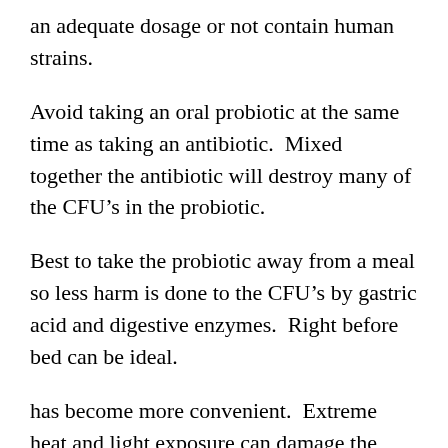an adequate dosage or not contain human strains.
Avoid taking an oral probiotic at the same time as taking an antibiotic.  Mixed together the antibiotic will destroy many of the CFU's in the probiotic.
Best to take the probiotic away from a meal so less harm is done to the CFU's by gastric acid and digestive enzymes.  Right before bed can be ideal.
has become more convenient.  Extreme heat and light exposure can damage the organisms but most products, today, are safe at room temperature if packaged in a dark container.  Requiring refrigeration does not make a probiotic more effective, but following the directions on